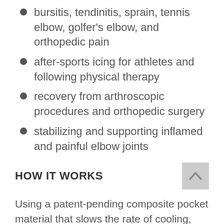bursitis, tendinitis, sprain, tennis elbow, golfer's elbow, and orthopedic pain
after-sports icing for athletes and following physical therapy
recovery from arthroscopic procedures and orthopedic surgery
stabilizing and supporting inflamed and painful elbow joints
HOW IT WORKS
Using a patent-pending composite pocket material that slows the rate of cooling, übertherm cold therapy products prote... you from the harsh effects of ice—cellula... injury, nerve damage, brittle injury prone...